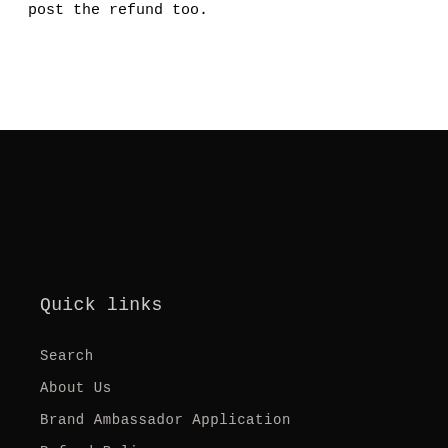post the refund too.
Quick links
Search
About Us
Brand Ambassador Application
Refund Policy
Terms of Service
Privacy Policy
Shipping Policy